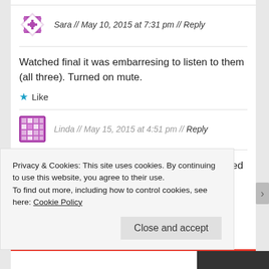Sara // May 10, 2015 at 7:31 pm // Reply
Watched final it was embarresing to listen to them (all three). Turned on mute.
Like
Linda // May 15, 2015 at 4:51 pm // Reply
Please please someone at tennis channel tell Ted
Privacy & Cookies: This site uses cookies. By continuing to use this website, you agree to their use.
To find out more, including how to control cookies, see here: Cookie Policy
Close and accept